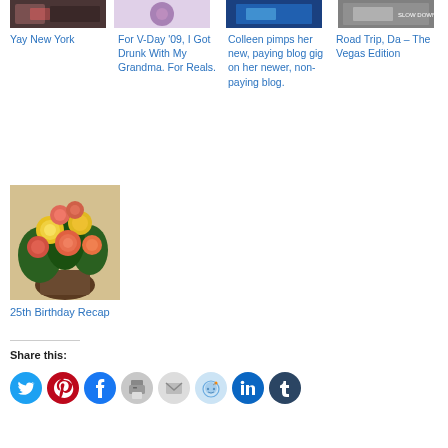[Figure (photo): Partial top image 1 - dark tones]
Yay New York
[Figure (photo): Partial top image 2 - purple tones]
For V-Day '09, I Got Drunk With My Grandma. For Reals.
[Figure (photo): Partial top image 3 - blue tones]
Colleen pimps her new, paying blog gig on her newer, non-paying blog.
[Figure (photo): Partial top image 4 - gray tones]
Road Trip, Da – The Vegas Edition
[Figure (photo): Bouquet of colorful roses - 25th Birthday Recap]
25th Birthday Recap
Share this:
[Figure (infographic): Share icons row: Twitter, Pinterest, Facebook, Print, Email, Reddit, LinkedIn, Tumblr]